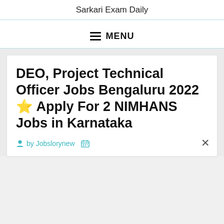Sarkari Exam Daily
≡ MENU
DEO, Project Technical Officer Jobs Bengaluru 2022 ★ Apply For 2 NIMHANS Jobs in Karnataka
by Jobslorynew